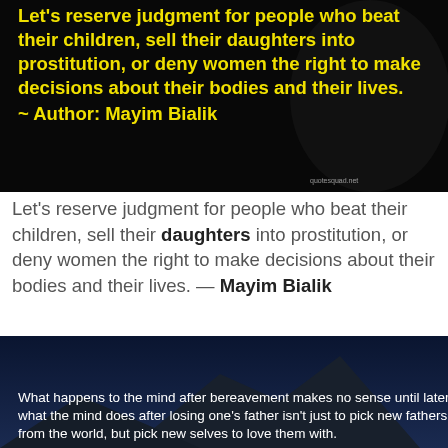[Figure (photo): Dark background image with bold yellow text quote about reserving judgment, attributed to Mayim Bialik. Small watermark 'quotesquad.net' in bottom right.]
Let's reserve judgment for people who beat their children, sell their daughters into prostitution, or deny women the right to make decisions about their bodies and their lives. — Mayim Bialik
[Figure (photo): Dark night sky and mountain silhouette background with white text quote about bereavement and losing one's father.]